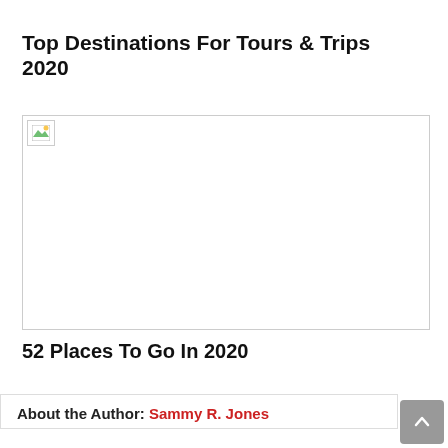Top Destinations For Tours & Trips 2020
[Figure (photo): Broken image placeholder — a travel destination photo that failed to load, shown as a bordered box with a broken image icon in the top-left corner.]
52 Places To Go In 2020
About the Author: Sammy R. Jones